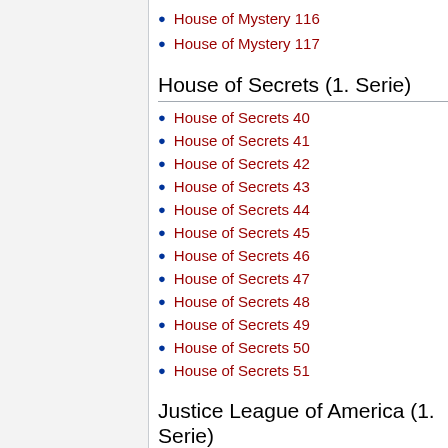House of Mystery 116
House of Mystery 117
House of Secrets (1. Serie)
House of Secrets 40
House of Secrets 41
House of Secrets 42
House of Secrets 43
House of Secrets 44
House of Secrets 45
House of Secrets 46
House of Secrets 47
House of Secrets 48
House of Secrets 49
House of Secrets 50
House of Secrets 51
Justice League of America (1. Serie)